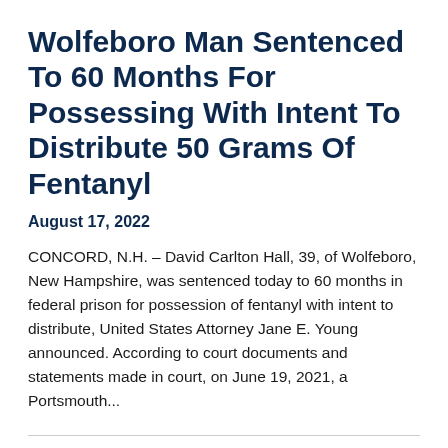Wolfeboro Man Sentenced To 60 Months For Possessing With Intent To Distribute 50 Grams Of Fentanyl
August 17, 2022
CONCORD, N.H. – David Carlton Hall, 39, of Wolfeboro, New Hampshire, was sentenced today to 60 months in federal prison for possession of fentanyl with intent to distribute, United States Attorney Jane E. Young announced. According to court documents and statements made in court, on June 19, 2021, a Portsmouth...
Leader Of Brighton Drug